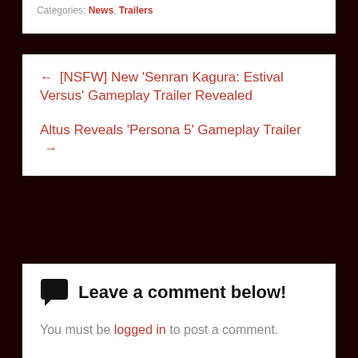Categories: News, Trailers
← [NSFW] New 'Senran Kagura: Estival Versus' Gameplay Trailer Revealed
Altus Reveals 'Persona 5' Gameplay Trailer →
Leave a comment below!
You must be logged in to post a comment.
This site uses Akismet to reduce spam. Learn how your comment data is processed.